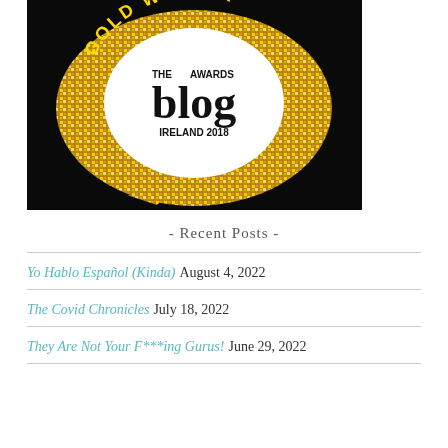[Figure (logo): Gold Winner badge for The Blog Awards Ireland 2018. Black background with gold glitter/sequin pattern forming a speech bubble shape. White circle in center with text 'THE AWARDS blog IRELAND 2018'. Text 'GOLD WINNER' arched at top in gold.]
- Recent Posts -
Yo Hablo Español (Kinda) August 4, 2022
The Covid Chronicles July 18, 2022
They Are Not Your F***ing Gurus! June 29, 2022